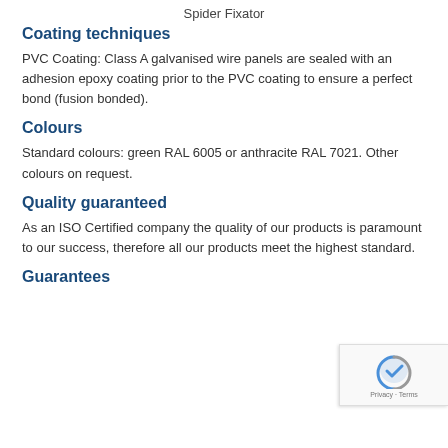Spider Fixator
Coating techniques
PVC Coating: Class A galvanised wire panels are sealed with an adhesion epoxy coating prior to the PVC coating to ensure a perfect bond (fusion bonded).
Colours
Standard colours: green RAL 6005 or anthracite RAL 7021. Other colours on request.
Quality guaranteed
As an ISO Certified company the quality of our products is paramount to our success, therefore all our products meet the highest standard.
Guarantees